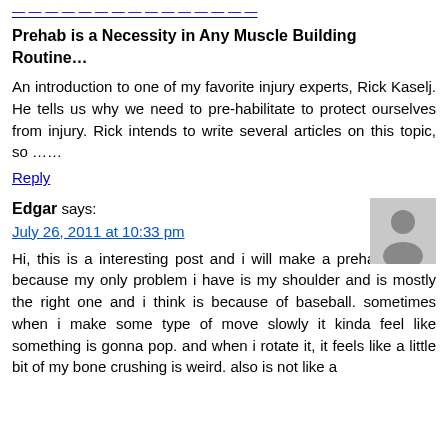[link text clipped]
Prehab is a Necessity in Any Muscle Building Routine…
An introduction to one of my favorite injury experts, Rick Kaselj. He tells us why we need to pre-habilitate to protect ourselves from injury. Rick intends to write several articles on this topic, so ……
Reply
Edgar says:
July 26, 2011 at 10:33 pm
Hi, this is a interesting post and i will make a prehab routine because my only problem i have is my shoulder and is mostly the right one and i think is because of baseball. sometimes when i make some type of move slowly it kinda feel like something is gonna pop. and when i rotate it, it feels like a little bit of my bone crushing is weird. also is not like a